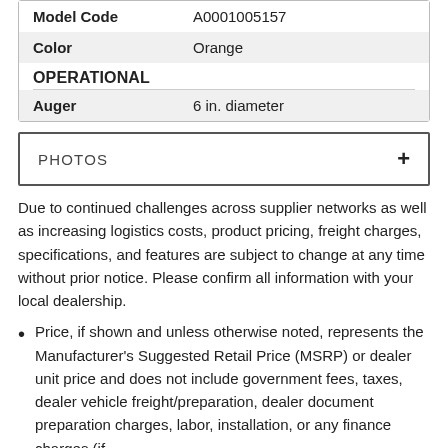| Field | Value |
| --- | --- |
| Model Code | A0001005157 |
| Color | Orange |
| OPERATIONAL |  |
| Auger | 6 in. diameter |
PHOTOS +
Due to continued challenges across supplier networks as well as increasing logistics costs, product pricing, freight charges, specifications, and features are subject to change at any time without prior notice. Please confirm all information with your local dealership.
Price, if shown and unless otherwise noted, represents the Manufacturer's Suggested Retail Price (MSRP) or dealer unit price and does not include government fees, taxes, dealer vehicle freight/preparation, dealer document preparation charges, labor, installation, or any finance charges (if